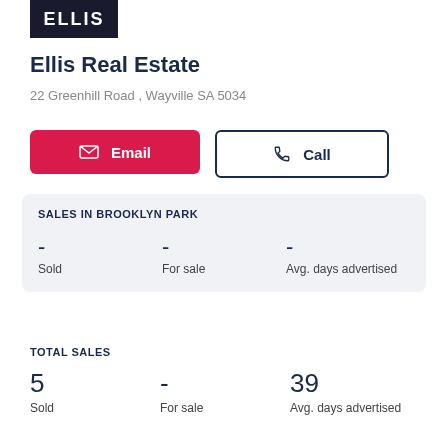[Figure (logo): ELLIS logo - white text on dark navy background]
Ellis Real Estate
22 Greenhill Road , Wayville SA 5034
Email
Call
SALES IN BROOKLYN PARK
| - | - | - |
| --- | --- | --- |
| Sold | For sale | Avg. days advertised |
TOTAL SALES
| 5 | - | 39 |
| --- | --- | --- |
| Sold | For sale | Avg. days advertised |